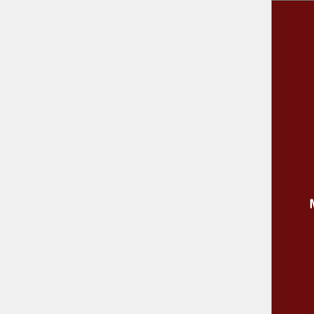| Category | Items |
| --- | --- |
| Medical Items | Towel • Beta Blockers • Bottle of Disinfectant • Cigarettes • Cotton Balls • Dish Towel • Medicinal Herbs • Needle • Painkillers • Poultice • Ripped Sheets • Sleeping Tablets • Splint • Suture Needle • Suture Needle Holder • Thread • Tissue • Tweezers • Vitamins |
|  | Apple • Avocado • Bacon • Bacon … |